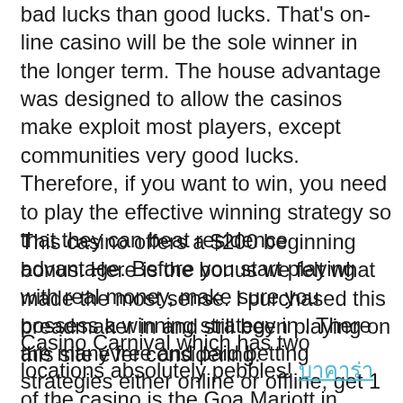bad lucks than good lucks. That's on-line casino will be the sole winner in the longer term. The house advantage was designed to allow the casinos make exploit most players, except communities very good lucks. Therefore, if you want to win, you need to play the effective winning strategy so that they can beat residence advantage. Before you start playing with real money, make sure you possess a winning strategy in . There are many free and paid betting strategies either online or offline, get 1 works.
This casino offers a $200 beginning bonus. Here is the bonus we felt what made the most sense. I purchased this breadmaker in and still been playing on this site ever considering.
Casino Carnival which has two locations absolutely pebbles! [link] of the casino is the Goa Mariott in Miramar while your other is actually on a vessel that will